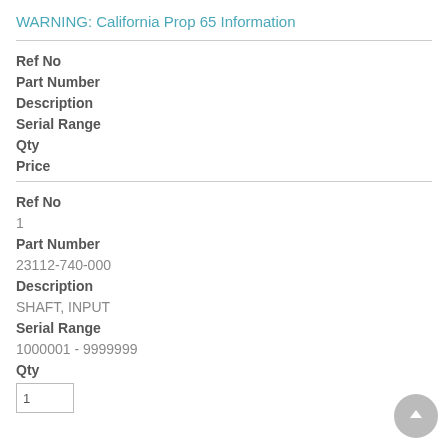WARNING: California Prop 65 Information
Ref No
Part Number
Description
Serial Range
Qty
Price
Ref No
1
Part Number
23112-740-000
Description
SHAFT, INPUT
Serial Range
1000001 - 9999999
Qty
1